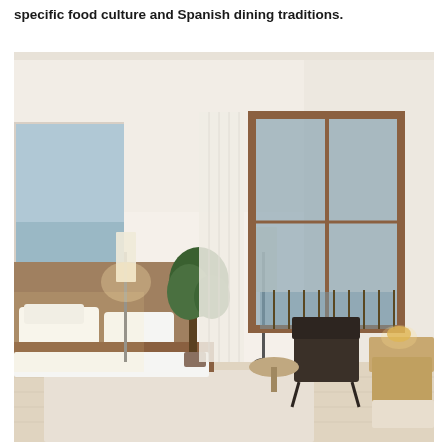specific food culture and Spanish dining traditions.
[Figure (photo): A modern minimalist hotel room with white walls and ceiling, a large bed with white linens and brown throw pillows, a floor lamp with white shade, potted plants, sheer white curtains, a wooden-framed window/balcony door with blue-grey exterior visible, a dark lounge chair, a round wooden side table, a wooden desk with a small lamp, and a landscape photograph of rocky coastal cliffs on the wall above the headboard. Light wood floors and a white area rug complete the space.]